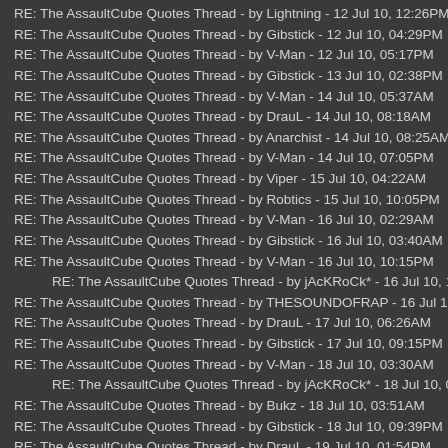RE: The AssaultCube Quotes Thread - by Lightning - 12 Jul 10, 12:26PM
RE: The AssaultCube Quotes Thread - by Gibstick - 12 Jul 10, 04:29PM
RE: The AssaultCube Quotes Thread - by V-Man - 12 Jul 10, 05:17PM
RE: The AssaultCube Quotes Thread - by Gibstick - 13 Jul 10, 02:38PM
RE: The AssaultCube Quotes Thread - by V-Man - 14 Jul 10, 05:37AM
RE: The AssaultCube Quotes Thread - by DrauL - 14 Jul 10, 08:18AM
RE: The AssaultCube Quotes Thread - by Anarchist - 14 Jul 10, 08:25AM
RE: The AssaultCube Quotes Thread - by V-Man - 14 Jul 10, 07:05PM
RE: The AssaultCube Quotes Thread - by Viper - 15 Jul 10, 04:22AM
RE: The AssaultCube Quotes Thread - by Robtics - 15 Jul 10, 10:05PM
RE: The AssaultCube Quotes Thread - by V-Man - 16 Jul 10, 02:29AM
RE: The AssaultCube Quotes Thread - by Gibstick - 16 Jul 10, 03:40AM
RE: The AssaultCube Quotes Thread - by V-Man - 16 Jul 10, 10:15PM
RE: The AssaultCube Quotes Thread - by jAcKRoCk* - 16 Jul 10, 10:36PM
RE: The AssaultCube Quotes Thread - by THESOUNDOFRAP - 16 Jul 10, 10:5...
RE: The AssaultCube Quotes Thread - by DrauL - 17 Jul 10, 06:26AM
RE: The AssaultCube Quotes Thread - by Gibstick - 17 Jul 10, 09:15PM
RE: The AssaultCube Quotes Thread - by V-Man - 18 Jul 10, 03:30AM
RE: The AssaultCube Quotes Thread - by jAcKRoCk* - 18 Jul 10, 03:37AM
RE: The AssaultCube Quotes Thread - by Bukz - 18 Jul 10, 03:51AM
RE: The AssaultCube Quotes Thread - by Gibstick - 18 Jul 10, 09:39PM
RE: The AssaultCube Quotes Thread - by DrauL - 19 Jul 10, 01:54PM
RE: The AssaultCube Quotes Thread - by V-Man - 19 Jul 10, 11:52PM
RE: The AssaultCube Quotes Thread - by Foo - 20 Jul 10, 07:39AM
RE: The AssaultCube Quotes Thread - by ... - 20 Jul 10, 03:01PM